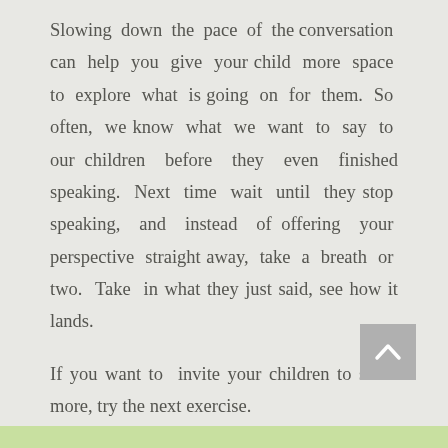Slowing down the pace of the conversation can help you give your child more space to explore what is going on for them. So often, we know what we want to say to our children before they even finished speaking. Next time wait until they stop speaking, and instead of offering your perspective straight away, take a breath or two. Take in what they just said, see how it lands.

If you want to invite your children to share more, try the next exercise.